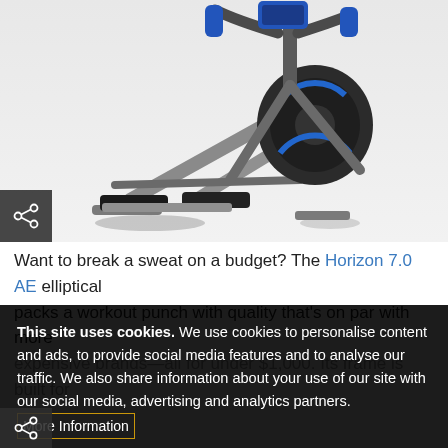[Figure (photo): Photo of a Horizon 7.0 AE elliptical trainer machine, dark grey and blue, on a light grey background]
Want to break a sweat on a budget? The Horizon 7.0 AE elliptical packs a workout punch with quality that's on par with more expensive brands—all for under $1,000. Its frame is built for ... and s... ...inclini It also features one-touch keys to adjust your resistance in stride ...here are handlebar controls ...edia throu ...iptical's Bluetooth speakers... ...r your
This site uses cookies. We use cookies to personalise content and ads, to provide social media features and to analyse our traffic. We also share information about your use of our site with our social media, advertising and analytics partners. More Information
Cookie Settings | ✓ Accept Cookies